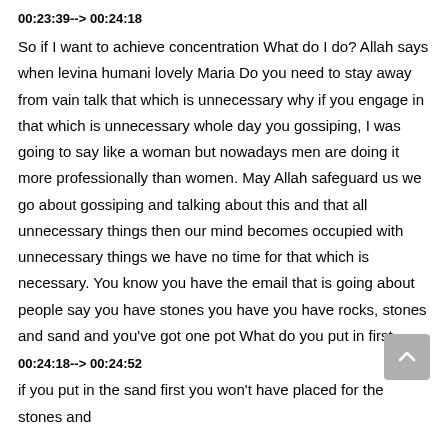00:23:39--> 00:24:18
So if I want to achieve concentration What do I do? Allah says when levina humani lovely Maria Do you need to stay away from vain talk that which is unnecessary why if you engage in that which is unnecessary whole day you gossiping, I was going to say like a woman but nowadays men are doing it more professionally than women. May Allah safeguard us we go about gossiping and talking about this and that all unnecessary things then our mind becomes occupied with unnecessary things we have no time for that which is necessary. You know you have the email that is going about people say you have stones you have you have rocks, stones and sand and you've got one pot What do you put in first
00:24:18--> 00:24:52
if you put in the sand first you won't have placed for the stones and